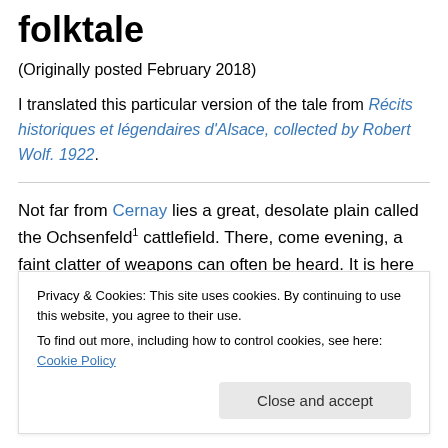folktale
(Originally posted February 2018)
I translated this particular version of the tale from Récits historiques et légendaires d'Alsace, collected by Robert Wolf. 1922.
Not far from Cernay lies a great, desolate plain called the Ochsenfeld¹ cattlefield. There, come evening, a faint clatter of weapons can often be heard. It is here that the
Privacy & Cookies: This site uses cookies. By continuing to use this website, you agree to their use.
To find out more, including how to control cookies, see here: Cookie Policy
Close and accept